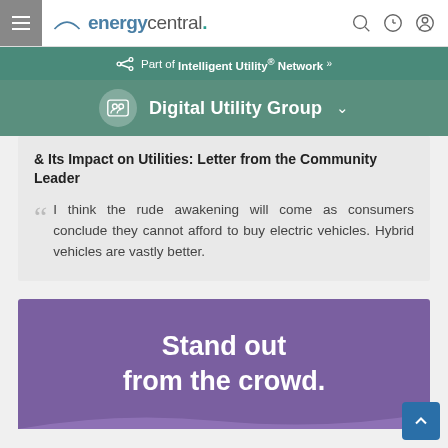energycentral.
Part of Intelligent Utility® Network »
Digital Utility Group
& Its Impact on Utilities: Letter from the Community Leader
I think the rude awakening will come as consumers conclude they cannot afford to buy electric vehicles. Hybrid vehicles are vastly better.
[Figure (illustration): Advertisement banner with purple background reading 'Stand out from the crowd.']